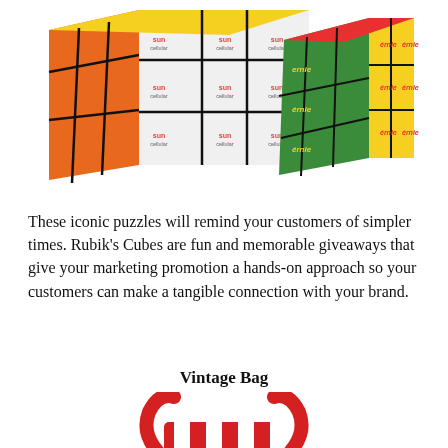[Figure (photo): Two branded Rubik's Cubes with Sun Cellular and Ernie logos on the cube faces, shown on a white background.]
These iconic puzzles will remind your customers of simpler times. Rubik's Cubes are fun and memorable giveaways that give your marketing promotion a hands-on approach so your customers can make a tangible connection with your brand.
Vintage Bag
[Figure (photo): A red and white striped vintage bag with red handles, partially visible at the bottom of the page.]